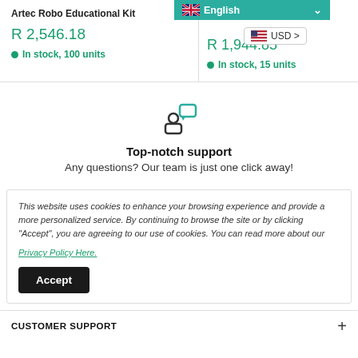Artec Robo Educational Kit
R 2,546.18
In stock, 100 units
R 1,944.85
In stock, 15 units
[Figure (illustration): Support icon: person with chat bubble]
Top-notch support
Any questions? Our team is just one click away!
This website uses cookies to enhance your browsing experience and provide a more personalized service. By continuing to browse the site or by clicking "Accept", you are agreeing to our use of cookies. You can read more about our Privacy Policy Here.
Accept
CUSTOMER SUPPORT